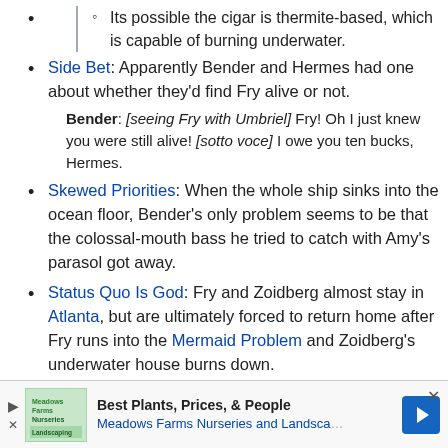Its possible the cigar is thermite-based, which is capable of burning underwater.
Side Bet: Apparently Bender and Hermes had one about whether they'd find Fry alive or not.
Bender: [seeing Fry with Umbriel] Fry! Oh I just knew you were still alive! [sotto voce] I owe you ten bucks, Hermes.
Skewed Priorities: When the whole ship sinks into the ocean floor, Bender's only problem seems to be that the colossal-mouth bass he tried to catch with Amy's parasol got away.
Status Quo Is God: Fry and Zoidberg almost stay in Atlanta, but are ultimately forced to return home after Fry runs into the Mermaid Problem and Zoidberg's underwater house burns down.
Suntan Stencil: Bender takes Amy's parasol, resulting in her getting a sunburn. Bender assures her he put...
[Figure (infographic): Advertisement banner for Meadows Farms Nurseries and Landscape: Best Plants, Prices, & People]